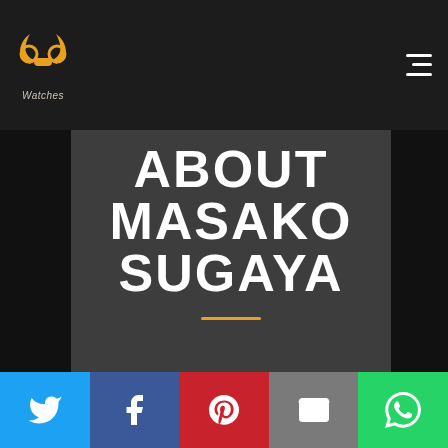[Figure (logo): PP Watches logo with golden stylized headphone/ram icon and italic 'Watches' text below]
ABOUT MASAKO SUGAYA
[Figure (other): Orange horizontal divider line]
[Figure (screenshot): Social sharing bar with Twitter, Facebook, Pinterest, Email, and WhatsApp buttons]